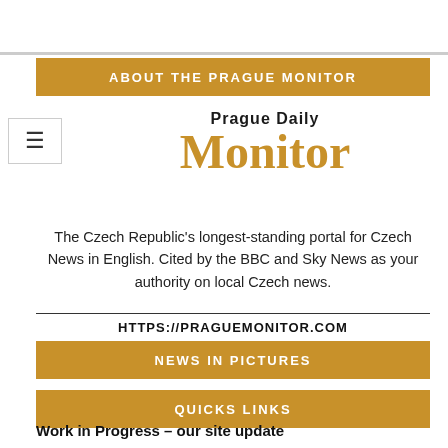ABOUT THE PRAGUE MONITOR
[Figure (logo): Prague Daily Monitor logo — gold serif 'Monitor' wordmark with 'Prague Daily' above in black bold sans-serif]
The Czech Republic's longest-standing portal for Czech News in English. Cited by the BBC and Sky News as your authority on local Czech news.
HTTPS://PRAGUEMONITOR.COM
NEWS IN PICTURES
QUICKS LINKS
Work in Progress – our site update